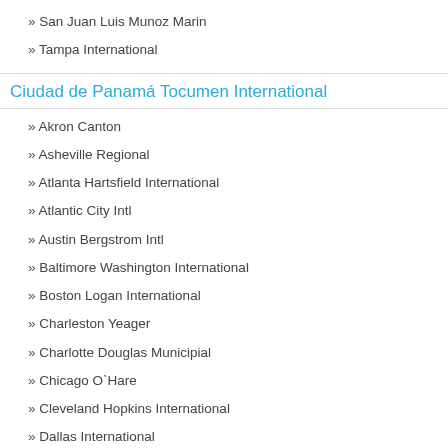» San Juan Luis Munoz Marin
» Tampa International
Ciudad de Panamá Tocumen International
» Akron Canton
» Asheville Regional
» Atlanta Hartsfield International
» Atlantic City Intl
» Austin Bergstrom Intl
» Baltimore Washington International
» Boston Logan International
» Charleston Yeager
» Charlotte Douglas Municipial
» Chicago O`Hare
» Cleveland Hopkins International
» Dallas International